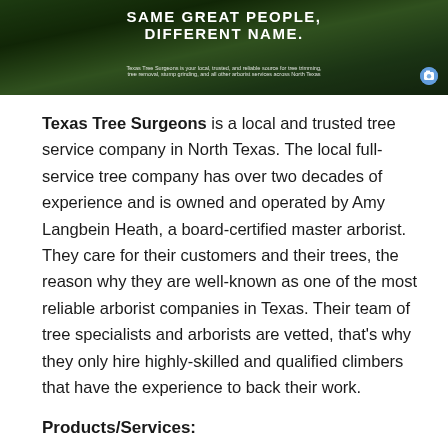[Figure (photo): Website banner with dark green forest/tree background showing text 'SAME GREAT PEOPLE, DIFFERENT NAME.' with subtitle text about Texas Tree Surgeons services and a small camera icon in the bottom right.]
Texas Tree Surgeons is a local and trusted tree service company in North Texas. The local full-service tree company has over two decades of experience and is owned and operated by Amy Langbein Heath, a board-certified master arborist. They care for their customers and their trees, the reason why they are well-known as one of the most reliable arborist companies in Texas. Their team of tree specialists and arborists are vetted, that's why they only hire highly-skilled and qualified climbers that have the experience to back their work.
Products/Services: